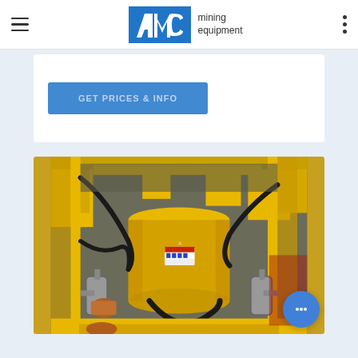AMC mining equipment
[Figure (photo): Yellow heavy mining equipment (drill or pump unit) with black hydraulic hoses and grey cylindrical components, safety labels visible on central cylinder, photographed in workshop]
[Figure (other): Blue chat button with ellipsis icon in bottom right corner]